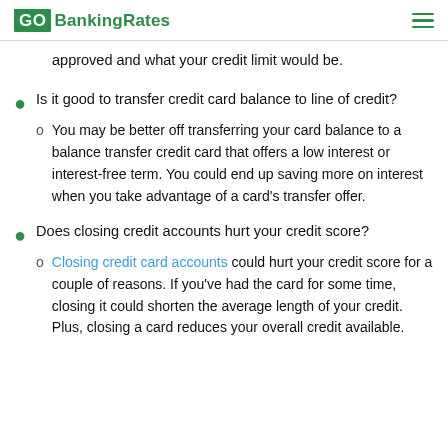GOBankingRates
approved and what your credit limit would be.
Is it good to transfer credit card balance to line of credit?
You may be better off transferring your card balance to a balance transfer credit card that offers a low interest or interest-free term. You could end up saving more on interest when you take advantage of a card's transfer offer.
Does closing credit accounts hurt your credit score?
Closing credit card accounts could hurt your credit score for a couple of reasons. If you've had the card for some time, closing it could shorten the average length of your credit. Plus, closing a card reduces your overall credit available.